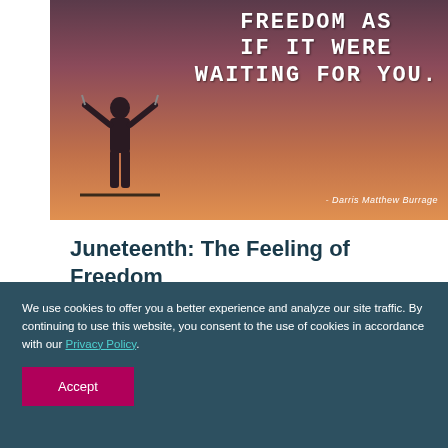[Figure (photo): Silhouette of a person with raised arms breaking chains against a dramatic sunset sky with quote text overlay: 'FREEDOM AS IF IT WERE WAITING FOR YOU.' - Darris Matthew Burrage]
Juneteenth: The Feeling of Freedom
Jun 19, 2021
We use cookies to offer you a better experience and analyze our site traffic. By continuing to use this website, you consent to the use of cookies in accordance with our Privacy Policy.